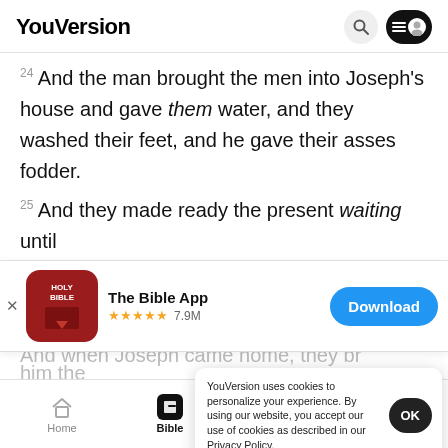YouVersion
24 And the man brought the men into Joseph's house and gave them water, and they washed their feet, and he gave their asses fodder.
25 And they made ready the present waiting until
[Figure (screenshot): The Bible App banner with Holy Bible icon, 5-star rating 7.9M, and Download button]
And when Joseph came home, they br
him the
house a
YouVersion uses cookies to personalize your experience. By using our website, you accept our use of cookies as described in our Privacy Policy.
Home  Bible  Plans  Videos